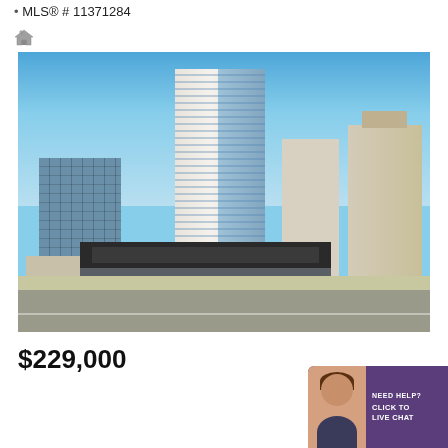MLS® # 11371284
[Figure (photo): Exterior street-level photograph of a tall modern high-rise condominium building in a Chicago urban downtown setting, with adjacent historic ornate buildings, storefronts at street level including UGG store, and a clear blue sky background.]
$229,000